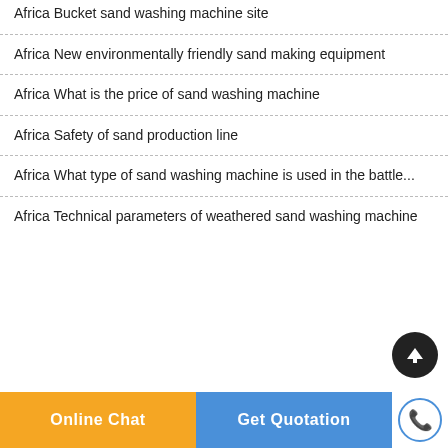Africa Bucket sand washing machine site
Africa New environmentally friendly sand making equipment
Africa What is the price of sand washing machine
Africa Safety of sand production line
Africa What type of sand washing machine is used in the battle...
Africa Technical parameters of weathered sand washing machine
Online Chat | Get Quotation